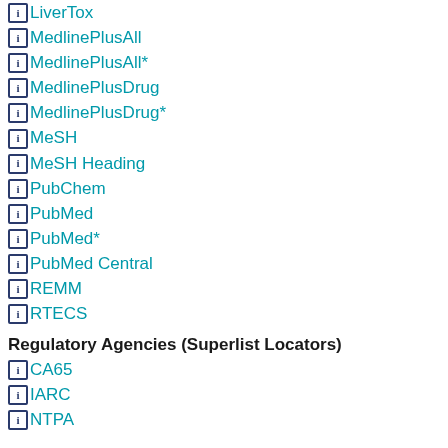LiverTox
MedlinePlusAll
MedlinePlusAll*
MedlinePlusDrug
MedlinePlusDrug*
MeSH
MeSH Heading
PubChem
PubMed
PubMed*
PubMed Central
REMM
RTECS
Regulatory Agencies (Superlist Locators)
CA65
IARC
NTPA